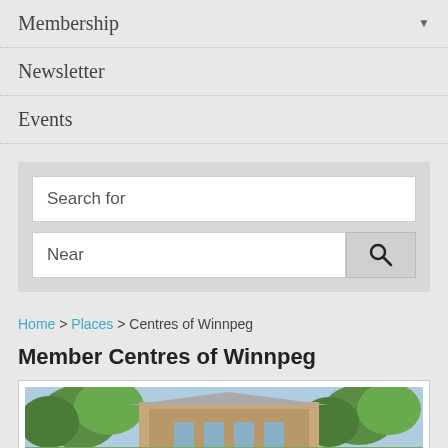Membership ▼
Newsletter
Events
Search for
Near
Home > Places > Centres of Winnpeg
Member Centres of Winnpeg
[Figure (photo): Exterior photo of a building with trees in front, partially visible at bottom of page]